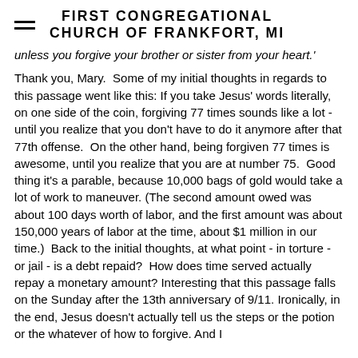FIRST CONGREGATIONAL CHURCH OF FRANKFORT, MI
unless you forgive your brother or sister from your heart.'
Thank you, Mary.  Some of my initial thoughts in regards to this passage went like this: If you take Jesus' words literally, on one side of the coin, forgiving 77 times sounds like a lot - until you realize that you don't have to do it anymore after that 77th offense.  On the other hand, being forgiven 77 times is awesome, until you realize that you are at number 75.  Good thing it's a parable, because 10,000 bags of gold would take a lot of work to maneuver. (The second amount owed was about 100 days worth of labor, and the first amount was about 150,000 years of labor at the time, about $1 million in our time.)  Back to the initial thoughts, at what point - in torture - or jail - is a debt repaid?  How does time served actually repay a monetary amount? Interesting that this passage falls on the Sunday after the 13th anniversary of 9/11. Ironically, in the end, Jesus doesn't actually tell us the steps or the potion or the whatever of how to forgive. And I